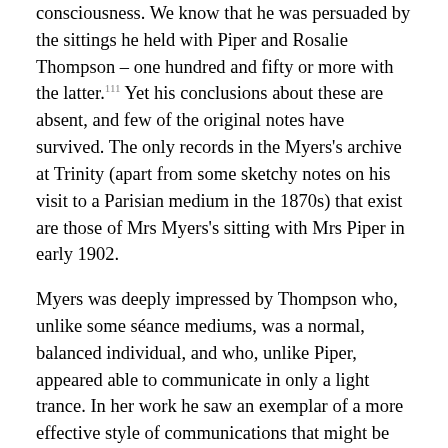consciousness. We know that he was persuaded by the sittings he held with Piper and Rosalie Thompson – one hundred and fifty or more with the latter.111 Yet his conclusions about these are absent, and few of the original notes have survived. The only records in the Myers's archive at Trinity (apart from some sketchy notes on his visit to a Parisian medium in the 1870s) that exist are those of Mrs Myers's sitting with Mrs Piper in early 1902.
Myers was deeply impressed by Thompson who, unlike some séance mediums, was a normal, balanced individual, and who, unlike Piper, appeared able to communicate in only a light trance. In her work he saw an exemplar of a more effective style of communications that might be possible in the future, the result of combined terrestrial and transcendental evolutionary forces.112
According to Alice James, William James's wife, Myers